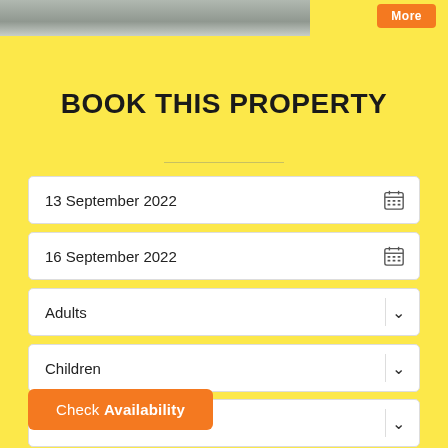[Figure (photo): Top portion of a property photo, cropped, showing outdoor/building scene in grayscale/muted tones]
BOOK THIS PROPERTY
13 September 2022
16 September 2022
Adults
Children
Infants
Check Availability